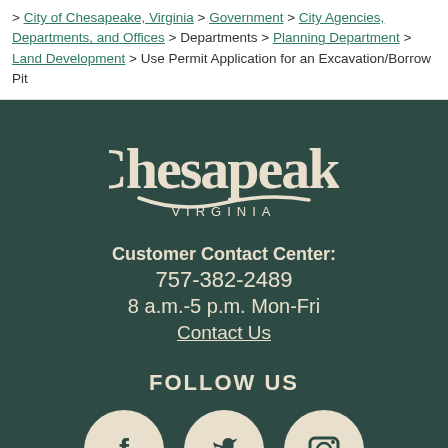> City of Chesapeake, Virginia > Government > City Agencies, Departments, and Offices > Departments > Planning Department > Land Development > Use Permit Application for an Excavation/Borrow Pit
[Figure (logo): Chesapeake Virginia city logo with stylized text and swash underline]
Customer Contact Center:
757-382-2489
8 a.m.-5 p.m. Mon-Fri
Contact Us
FOLLOW US
[Figure (illustration): Three social media icons in cream circles: Facebook, Twitter, Instagram]